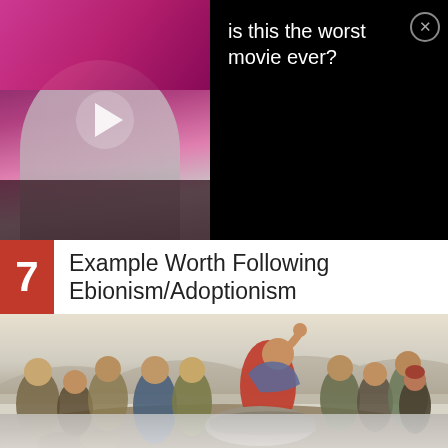[Figure (screenshot): Ad banner with video thumbnail on left showing a person with pink/magenta background and a white play button overlay, and black right side with text 'is this the worst movie ever?' and a close button (X circle)]
is this the worst movie ever?
7  Example Worth Following Ebionism/Adoptionism
[Figure (photo): Classical painting of Jesus Christ seated on a rock, wearing red robe and blue cloak, right hand raised with index finger pointing upward, surrounded by a crowd of listeners in ancient Middle Eastern attire, set against a light sky and mountain landscape (Sermon on the Mount)]